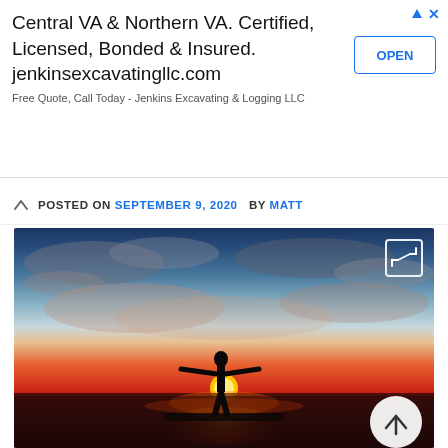Central VA & Northern VA. Certified, Licensed, Bonded & Insured. jenkinsexcavatingllc.com
Free Quote, Call Today - Jenkins Excavating & Logging LLC
OPEN
POSTED ON SEPTEMBER 9, 2020   BY MATT
[Figure (photo): Person standing on a surface with arms spread wide, silhouetted against a vivid orange and red sunset over water, with dramatic cloudy sky.]